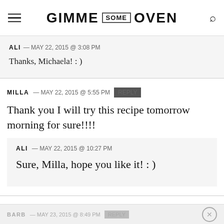GIMME SOME OVEN
ALI – MAY 22, 2015 @ 3:08 PM
Thanks, Michaela! : )
MILLA – MAY 22, 2015 @ 5:55 PM
Thank you I will try this recipe tomorrow morning for sure!!!!
ALI – MAY 22, 2015 @ 10:27 PM
Sure, Milla, hope you like it! : )
BARB – MAY 23, 2015 @ 8:49 PM